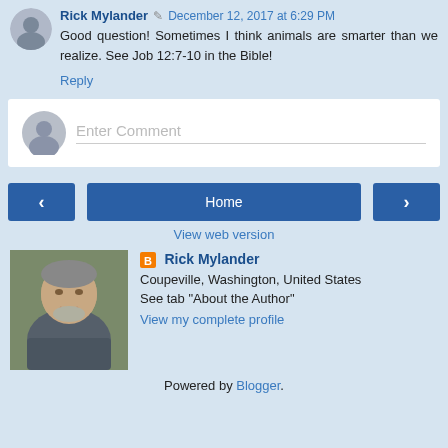Rick Mylander  December 12, 2017 at 6:29 PM
Good question! Sometimes I think animals are smarter than we realize. See Job 12:7-10 in the Bible!
Reply
[Figure (other): Comment input box with generic user avatar and Enter Comment placeholder text]
[Figure (other): Navigation buttons: left arrow, Home, right arrow]
View web version
[Figure (photo): Photo of Rick Mylander, middle-aged man with beard, smiling]
Rick Mylander - Coupeville, Washington, United States
See tab "About the Author"
View my complete profile
Powered by Blogger.